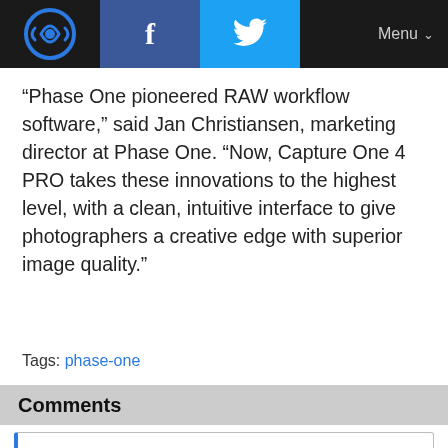[Logo] f [Twitter bird] Menu
“Phase One pioneered RAW workflow software,” said Jan Christiansen, marketing director at Phase One. “Now, Capture One 4 PRO takes these innovations to the highest level, with a clean, intuitive interface to give photographers a creative edge with superior image quality.”
Tags: phase-one
Comments
Comments on this article may be moderated before they are made public. Please keep your contributions constructive and civil.
View comments (0)
You may also like